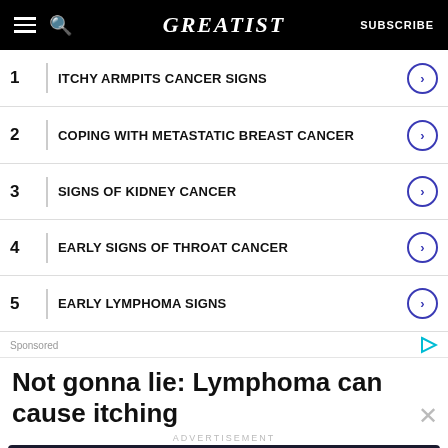GREATIST | SUBSCRIBE
1 ITCHY ARMPITS CANCER SIGNS
2 COPING WITH METASTATIC BREAST CANCER
3 SIGNS OF KIDNEY CANCER
4 EARLY SIGNS OF THROAT CANCER
5 EARLY LYMPHOMA SIGNS
Sponsored
Not gonna lie: Lymphoma can cause itching
ADVERTISEMENT
Let's be friends with (health) benefits. Follow GREATIST on Instagram FOLLOW US